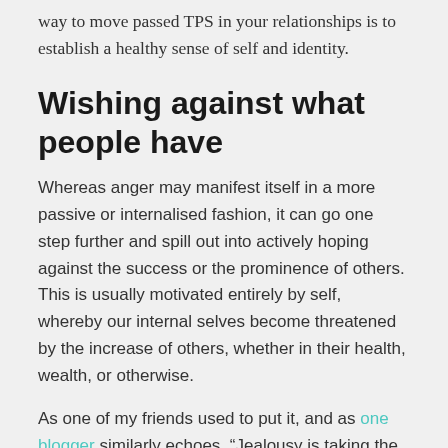way to move passed TPS in your relationships is to establish a healthy sense of self and identity.
Wishing against what people have
Whereas anger may manifest itself in a more passive or internalised fashion, it can go one step further and spill out into actively hoping against the success or the prominence of others. This is usually motivated entirely by self, whereby our internal selves become threatened by the increase of others, whether in their health, wealth, or otherwise.
As one of my friends used to put it, and as one blogger similarly echoes, “Jealousy is taking the success of others as your own failure”. Because they’re doing well, they’re getting ahead, they’re moving on, it reminds me